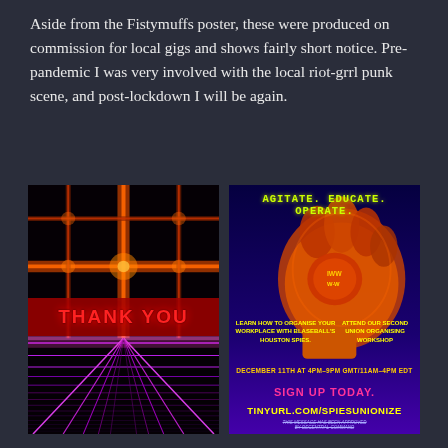Aside from the Fistymuffs poster, these were produced on commission for local gigs and shows fairly short notice. Pre-pandemic I was very involved with the local riot-grrl punk scene, and post-lockdown I will be again.
[Figure (illustration): Left poster: dark background with glowing orange cross/grid lines and the text 'THANK YOU' in red on a red band, with a purple retro grid at the bottom]
[Figure (illustration): Right poster: dark purple background with 'AGITATE. EDUCATE. OPERATE.' in yellow, a baseball glove holding a ball, text about union organizing workshop with Blaseball's Houston Spies, date December 11th 4pm-9pm GMT/11am-4pm EDT, 'SIGN UP TODAY. TINYURL.COM/SPIESUNIONIZE']